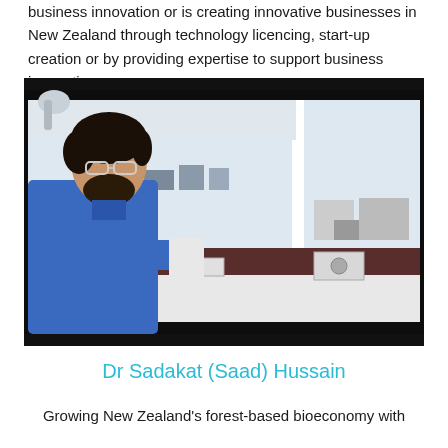business innovation or is creating innovative businesses in New Zealand through technology licencing, start-up creation or by providing expertise to support business innovation.
[Figure (photo): A man wearing a blue lab coat and safety glasses stands in a laboratory, looking down at a document or card he is holding. Behind him is a large window showing another lab area with equipment on benches.]
Dr Sadakat (Saad) Hussain
Growing New Zealand's forest-based bioeconomy with